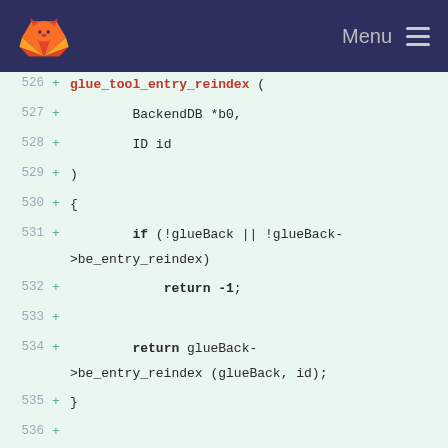Menu
[Figure (screenshot): GitLab diff view showing C source code lines 526-542 with added lines (marked with +). Code includes glue_tool_entry_reindex and glue_tool_sync function definitions.]